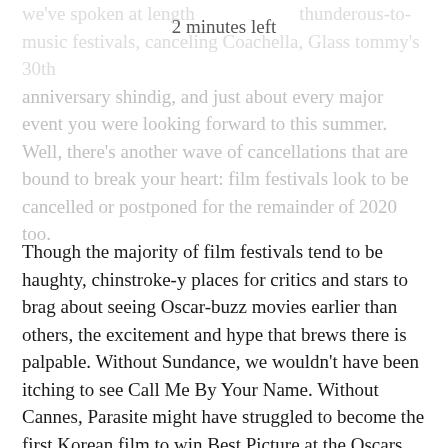2 minutes left
we've spoken at length                   thunderous-to-music festivals, canceling Coachella, Glass tommy's 30th anniversary shindig, and just about every major event you were looking forward to this summer. Well, there’s another wave of cancellations that are bound to break your heart: film festivals look to be cancelled or postponed for the remainder of 2020 too.
Though the majority of film festivals tend to be haughty, chinstroke-y places for critics and stars to brag about seeing Oscar-buzz movies earlier than others, the excitement and hype that brews there is palpable. Without Sundance, we wouldn’t have been itching to see Call Me By Your Name. Without Cannes, Parasite might have struggled to become the first Korean film to win Best Picture at the Oscars.
With Cannes officially postponed and the fate of others, like Venice, Toronto, Tribeca and London all being thrown into disarray, it’s nice to hear some good news for once. Yup, YouTube and Tribeca Film Festival are joining forces to launch a brand new digital movie event that they hope will capture the